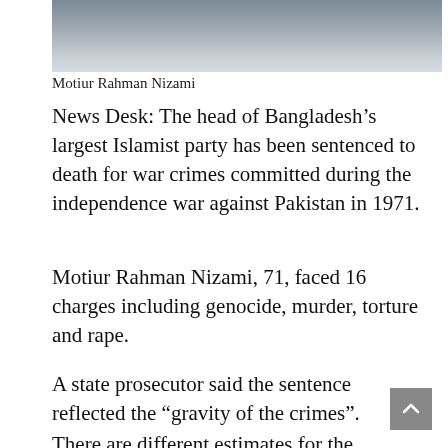[Figure (photo): Partial photo of Motiur Rahman Nizami, showing white beard and clothing, cropped at top]
Motiur Rahman Nizami
News Desk: The head of Bangladesh’s largest Islamist party has been sentenced to death for war crimes committed during the independence war against Pakistan in 1971.
Motiur Rahman Nizami, 71, faced 16 charges including genocide, murder, torture and rape.
A state prosecutor said the sentence reflected the “gravity of the crimes”.
There are different estimates for the